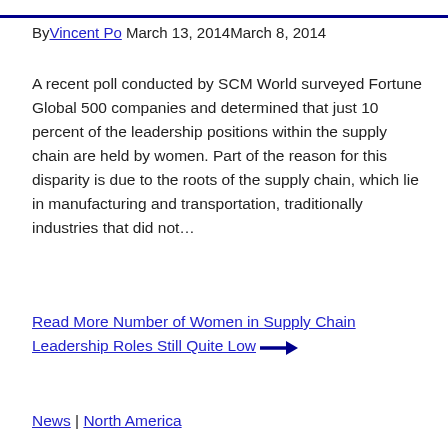By Vincent Po March 13, 2014March 8, 2014
A recent poll conducted by SCM World surveyed Fortune Global 500 companies and determined that just 10 percent of the leadership positions within the supply chain are held by women. Part of the reason for this disparity is due to the roots of the supply chain, which lie in manufacturing and transportation, traditionally industries that did not…
Read More Number of Women in Supply Chain Leadership Roles Still Quite Low →
News | North America